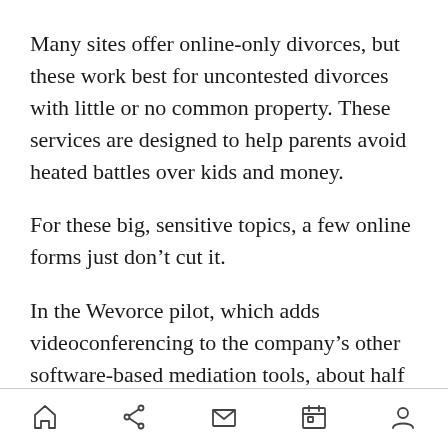Many sites offer online-only divorces, but these work best for uncontested divorces with little or no common property. These services are designed to help parents avoid heated battles over kids and money.
For these big, sensitive topics, a few online forms just don’t cut it.
In the Wevorce pilot, which adds videoconferencing to the company’s other software-based mediation tools, about half of Wevorce’s customers opted to use the new feature, making their divorces online-only. The rest preferred to meet with their spouses and
navigation bar with home, share, mail, calendar, profile icons